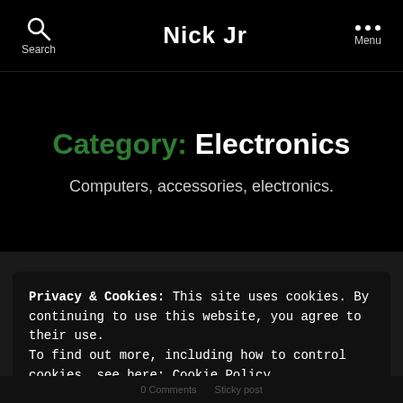Nick Jr
Category: Electronics
Computers, accessories, electronics.
Privacy & Cookies: This site uses cookies. By continuing to use this website, you agree to their use. To find out more, including how to control cookies, see here: Cookie Policy
CLOSE AND ACCEPT
0 Comments  Sticky post